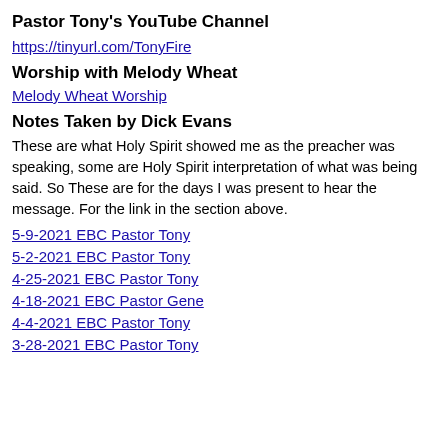Pastor Tony's YouTube Channel
https://tinyurl.com/TonyFire
Worship with Melody Wheat
Melody Wheat Worship
Notes Taken by Dick Evans
These are what Holy Spirit showed me as the preacher was speaking, some are Holy Spirit interpretation of what was being said. These are for the days I was present to hear the message. For others, use the link in the section above.
5-9-2021 EBC Pastor Tony
5-2-2021 EBC Pastor Tony
4-25-2021 EBC Pastor Tony
4-18-2021 EBC Pastor Gene
4-4-2021 EBC Pastor Tony
3-28-2021 EBC Pastor Tony